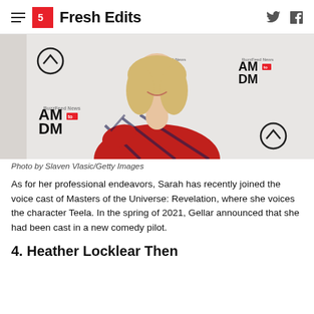Fresh Edits
[Figure (photo): Woman with blonde hair wearing a red and navy plaid off-shoulder dress, posing at a BuzzFeed News AM to DM event backdrop]
Photo by Slaven Vlasic/Getty Images
As for her professional endeavors, Sarah has recently joined the voice cast of Masters of the Universe: Revelation, where she voices the character Teela. In the spring of 2021, Gellar announced that she had been cast in a new comedy pilot.
4. Heather Locklear Then